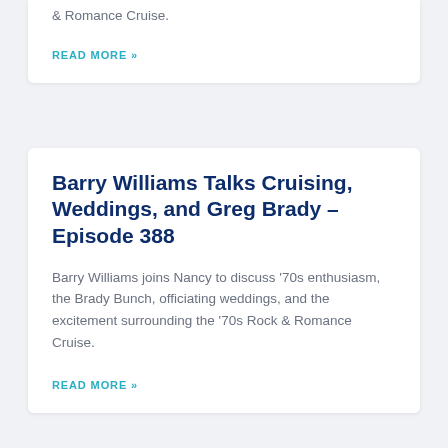& Romance Cruise.
READ MORE »
Barry Williams Talks Cruising, Weddings, and Greg Brady – Episode 388
Barry Williams joins Nancy to discuss '70s enthusiasm, the Brady Bunch, officiating weddings, and the excitement surrounding the '70s Rock & Romance Cruise.
READ MORE »